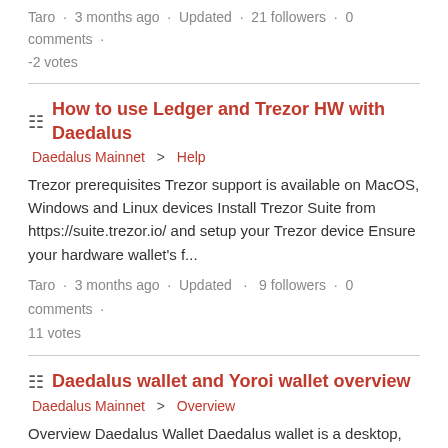Taro · 3 months ago · Updated · 21 followers · 0 comments · -2 votes
How to use Ledger and Trezor HW with Daedalus
Daedalus Mainnet > Help
Trezor prerequisites Trezor support is available on MacOS, Windows and Linux devices Install Trezor Suite from https://suite.trezor.io/ and setup your Trezor device Ensure your hardware wallet's f...
Taro · 3 months ago · Updated · 9 followers · 0 comments · 11 votes
Daedalus wallet and Yoroi wallet overview
Daedalus Mainnet > Overview
Overview Daedalus Wallet Daedalus wallet is a desktop, full-node hierarchical deterministic (HD) wallet for ada cryptocurrency, bundled with a full Cardano node. It stores